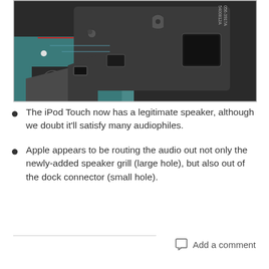[Figure (photo): Close-up photo of iPod Touch internal speaker hardware component with part numbers 056-3917A and other markings visible on a dark plastic/metal assembly mounted on a teal circuit board.]
The iPod Touch now has a legitimate speaker, although we doubt it'll satisfy many audiophiles.
Apple appears to be routing the audio out not only the newly-added speaker grill (large hole), but also out of the dock connector (small hole).
Add a comment